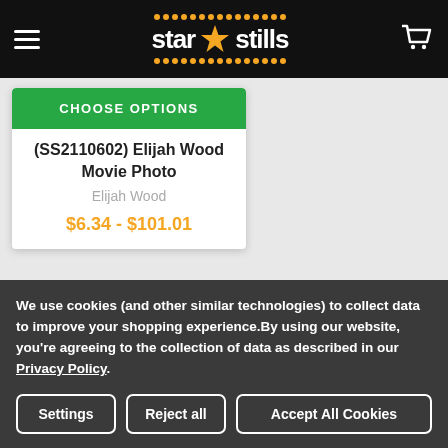[Figure (logo): Star Stills website header with hamburger menu, logo (star stills with orange star), and cart icon on black background]
CHOOSE OPTIONS
(SS2110602) Elijah Wood Movie Photo
Elijah Wood
$6.34 - $101.01
We use cookies (and other similar technologies) to collect data to improve your shopping experience.By using our website, you're agreeing to the collection of data as described in our Privacy Policy.
Settings
Reject all
Accept All Cookies